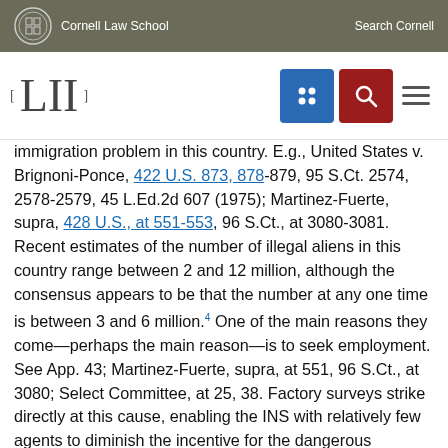Cornell Law School | Search Cornell
[Figure (logo): LII Legal Information Institute logo with navigation icons (grid, search, hamburger menu)]
immigration problem in this country. E.g., United States v. Brignoni-Ponce, 422 U.S. 873, 878-879, 95 S.Ct. 2574, 2578-2579, 45 L.Ed.2d 607 (1975); Martinez-Fuerte, supra, 428 U.S., at 551-553, 96 S.Ct., at 3080-3081. Recent estimates of the number of illegal aliens in this country range between 2 and 12 million, although the consensus appears to be that the number at any one time is between 3 and 6 million.4 One of the main reasons they come—perhaps the main reason—is to seek employment. See App. 43; Martinez-Fuerte, supra, at 551, 96 S.Ct., at 3080; Select Committee, at 25, 38. Factory surveys strike directly at this cause, enabling the INS with relatively few agents to diminish the incentive for the dangerous passage